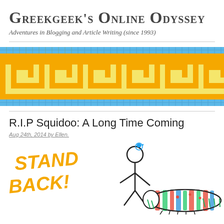Greekgeek's Online Odyssey
Adventures in Blogging and Article Writing (since 1993)
[Figure (illustration): Greek key meander mosaic pattern banner in orange/yellow on blue background tiles]
R.I.P Squidoo: A Long Time Coming
Aug 24th, 2014 by Ellen.
[Figure (illustration): Cartoon illustration: text 'STAND BACK!' in orange letters on left, stick figure person standing over a colorful striped creature (squid) lying on ground on right]